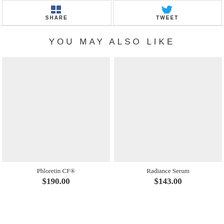[Figure (screenshot): Social sharing buttons: SHARE (Facebook) and TWEET (Twitter) side by side at the top of the page]
YOU MAY ALSO LIKE
[Figure (photo): Product image placeholder (gray rectangle) for Phloretin CF®]
Phloretin CF®
$190.00
[Figure (photo): Product image placeholder (gray rectangle) for Radiance Serum]
Radiance Serum
$143.00